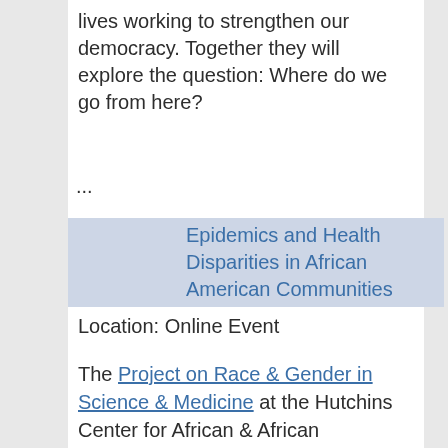lives working to strengthen our democracy. Together they will explore the question: Where do we go from here?
...
Epidemics and Health Disparities in African American Communities
Location: Online Event
The Project on Race & Gender in Science & Medicine at the Hutchins Center for African & African American Research is pleased to sponsor a series of conversations: